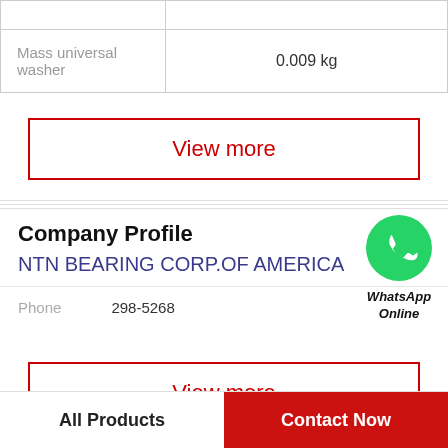|  |  |
| Mass universal washer | 0.009 kg |
View more
Company Profile
NTN BEARING CORP.OF AMERICA
[Figure (logo): WhatsApp Online icon — green circle with phone handset, text 'WhatsApp Online' in bold italic below]
Phone   298-5268
View more
All Products   Contact Now